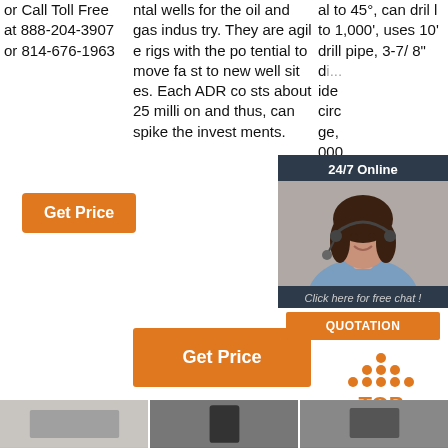or Call Toll Free at 888-204-3907 or 814-676-1963
ntal wells for the oil and gas industry. They are agile rigs with the potential to move fast to new well sites. Each ADR costs about 25 million and thus, can spike the investments.
al to 45°, can drill to 1,000', uses 10' drill pipe, 3-7/8" di... ide... circ... ge, 000... l pip...
[Figure (photo): Customer service agent woman with headset, 24/7 Online chat widget overlay with dark background, 'Click here for free chat!' text and orange QUOTATION button]
Get Price (left column button)
G... (right column button, partially visible)
Get Price (center column button)
[Figure (other): TOP navigation icon with orange dots forming an upward arrow above the text TOP in orange]
[Figure (photo): Three bottom thumbnail images showing oil drilling equipment/machinery]